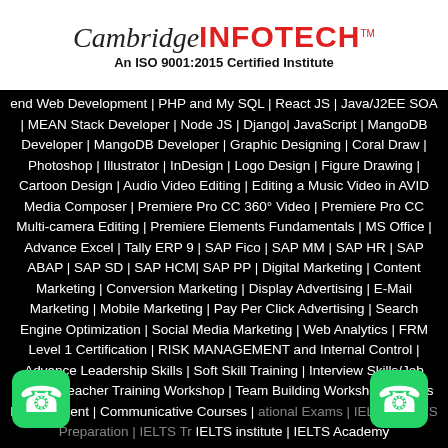[Figure (logo): Cambridge INFOTECH logo with 'An ISO 9001:2015 Certified Institute' tagline]
end Web Development | PHP and My SQL | React JS | Java/J2EE SOA | MEAN Stack Developer | Node JS | Django| JavaScript | MangoDB Developer | MangoDB Developer | Graphic Designing | Coral Draw | Photoshop | Illustrator | InDesign | Logo Design | Figure Drawing | Cartoon Design | Audio Video Editing | Editing a Music Video in AVID Media Composer | Premiere Pro CC 360° Video | Premiere Pro CC Multi-camera Editing | Premiere Elements Fundamentals | MS Office | Advance Excel | Tally ERP 9 | SAP Fico | SAP MM | SAP HR | SAP ABAP | SAP SD | SAP HCM| SAP PP | Digital Marketing | Content Marketing | Conversion Marketing | Display Advertising | E-Mail Marketing | Mobile Marketing | Pay Per Click Advertising | Search Engine Optimization | Social Media Marketing | Web Analytics | FRM Level 1 Certification | RISK MANAGEMENT and Internal Control | Advance Leadership Skills | Soft Skill Training | Interview Skills/Job Crack | Teacher Training Workshop | Team Building Workshop | Stress Management | Communicative Courses | ational Exams | IELTS | IELTS Preparation | IELTS Tr IELTS institute | IELTS Academy